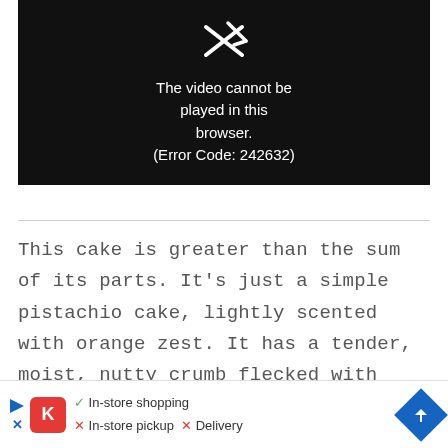[Figure (screenshot): Video player error screen with dark background showing a broken video icon and error message: 'The video cannot be played in this browser. (Error Code: 242632)']
This cake is greater than the sum of its parts. It's just a simple pistachio cake, lightly scented with orange zest. It has a tender, moist, nutty crumb flecked with subtle green from the ground pistachios. I serve it with a
[Figure (infographic): Advertisement bar showing Kroger store info: In-store shopping (checkmark), In-store pickup (X), Delivery (X), with navigation arrow icon]